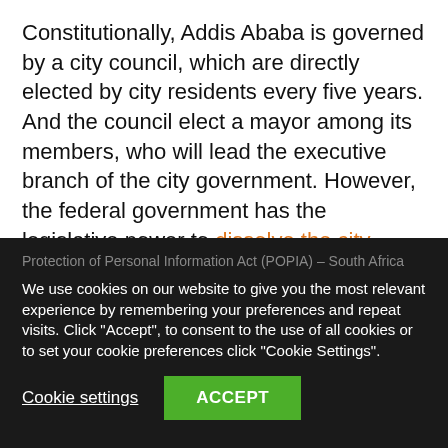Constitutionally, Addis Ababa is governed by a city council, which are directly elected by city residents every five years. And the council elect a mayor among its members, who will lead the executive branch of the city government. However, the federal government has the legislative power to dissolve the city council, extend its term limits beyond five years and appoint a deputy mayor with full executive power.
Protection of Personal Information Act (POPIA) – South Africa
We use cookies on our website to give you the most relevant experience by remembering your preferences and repeat visits. Click "Accept", to consent to the use of all cookies or to set your cookie preferences click "Cookie Settings".
Cookie settings   ACCEPT